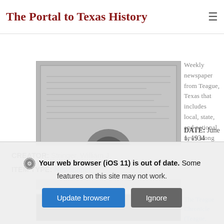The Portal to Texas History
[Figure (photo): Grayscale thumbnail of a historical newspaper page]
Weekly newspaper from Teague, Texas that includes local, state, and national news along with advertising.
DATE: June 1, 1934
CREATOR: Stringer, William J.
ITEM TYPE: Newspaper
[Figure (photo): Grayscale thumbnail of The Teague Chronicle newspaper]
The Teague Chronicle (Teague,
Your web browser (iOS 11) is out of date. Some features on this site may not work.